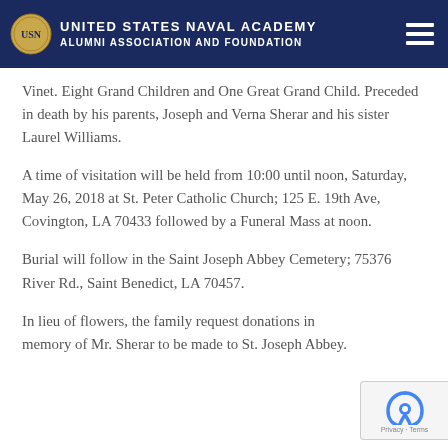United States Naval Academy Alumni Association and Foundation
Vinet. Eight Grand Children and One Great Grand Child. Preceded in death by his parents, Joseph and Verna Sherar and his sister Laurel Williams.
A time of visitation will be held from 10:00 until noon, Saturday, May 26, 2018 at St. Peter Catholic Church; 125 E. 19th Ave, Covington, LA 70433 followed by a Funeral Mass at noon.
Burial will follow in the Saint Joseph Abbey Cemetery; 75376 River Rd., Saint Benedict, LA 70457.
In lieu of flowers, the family request donations in memory of Mr. Sherar to be made to St. Joseph Abbey.